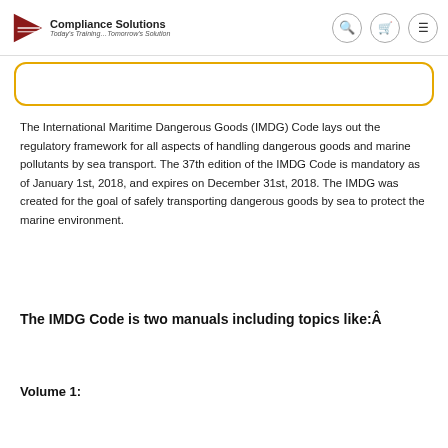Compliance Solutions — Today's Training…Tomorrow's Solution
The International Maritime Dangerous Goods (IMDG) Code lays out the regulatory framework for all aspects of handling dangerous goods and marine pollutants by sea transport. The 37th edition of the IMDG Code is mandatory as of January 1st, 2018, and expires on December 31st, 2018. The IMDG was created for the goal of safely transporting dangerous goods by sea to protect the marine environment.
The IMDG Code is two manuals including topics like:Â
Volume 1: